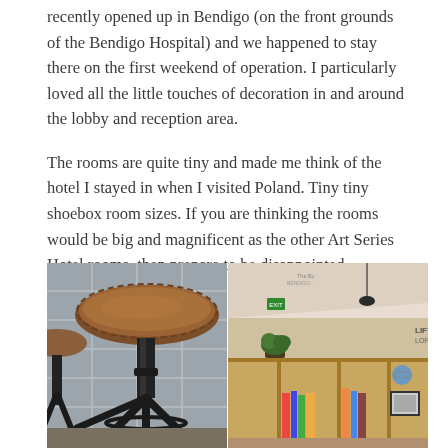recently opened up in Bendigo (on the front grounds of the Bendigo Hospital) and we happened to stay there on the first weekend of operation. I particularly loved all the little touches of decoration in and around the lobby and reception area.
The rooms are quite tiny and made me think of the hotel I stayed in when I visited Poland. Tiny tiny shoebox room sizes. If you are thinking the rooms would be big and magnificent as the other Art Series Hotel rooms, then prepare to be disappointed.
[Figure (photo): Two side-by-side photos: left shows a close-up of a brown leather bar stool on a grey tiled background; right shows the hotel lobby/reception area with wooden shelving, books, decorative items, and signage.]